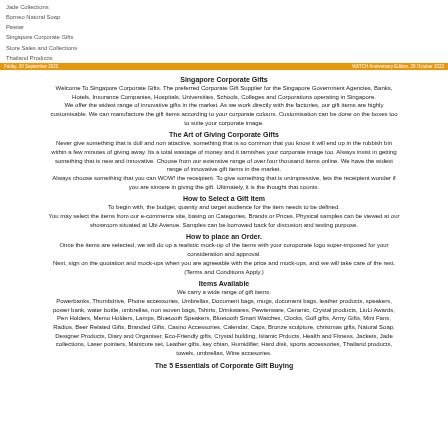Jade Collections
Borneo Natural Soap
Pewter
Singapore Corporate Gifts
Store Sales and Collections
Thailand Products
Friday, 29 September 2023 / WATCH Anniversary Edition, 29 October 2023
Singapore Corporate Gifts
Welcome To Singapore Corporate Gifts. The preferred Corporate Gift Supplier for the Singapore Government Agencies, Banks, Hotels, Insurance Companies, Hospitals, Universities, Schools, Colleges and Corporations operating in Singapore. We offer the widest range of innovative gifts in the market. As we work directly with the factories, our gift items are highly customisable. We can manufacture the gift items according to your corporate colours. Customisation can be done on the boxes too to suite your corporate image.
The Art of Giving Corporate Gifts
Never give something that is dull and non attactive, something that is so common that you know it will end up in the rubbish bin within a few minutes of giving away. Its a total wastage of money and it tarnishes your corporate image too. Always insist in getting something that is new and innovative. Choose from our extensive range of over four thousand items online. We have the widest range of innovative gift items in the market.
Always choose something that you can WOW! the receipient. To give something that is unimpressive, lets the receipient wonder if you are sincere in giving the gift. Ultimately, it is the thought that counts.
How to Select a Gift Item
To begin with, the budget, quanity and target audience for the item needs to be defined.
You may select the items from our e-commerce site, basing on Categories, Brands or Prices. Physical samples can be viewed at our showroom situated at Ubi Avenue. Samples can be borrowed back for discusion and testing purpose.
How to place an Order.
Once the items are selected, we will do up a realistic mock-up of the items with your coroporate logo super-imposed for your consideration and approval.
Next, sign on the quotation and mock-ups when you are agreeable with the price and mock-ups, and we will take care of the rest.
(Terms and Conditions Apply.)
Items Available
We carry a wide range of gift items:
Powerbanks, Thumbdrive, Phone accessories, Umbrellas, Document bags, mugs, document bags, leather products, speakers, power bank, water bottle, umbrellas, non woven bags, Tshirts, Drinkwares, Pewterware, Ceramic, Crystal products, LiuLi Awards, Pen Holders, Memo Holders, Lamps, Bluetooth Speakers, Bluetooth Smart Watches, Clocks, Golf gifts, Army Gifts, Mini Fans, Radios, Beer Related Gifts, Branded Gifts, Casino Accessories, Calendar, Caps, Bronze sculpture, christmas gifts, Natural Soap, Designer Products, Diary and Organiser, Eco-Friendly gifts, Crystal building, Islamic Prducts, Health and Fitness, Jackets, Jade collections, Laser pointers, Manicure set, Leather gifts, key chian, Humidifier, Hard disk, sports accessories, Thailand products, towels, umbrellas, Wine accesories.
The 5 Essentials of Corporate Gift Buying